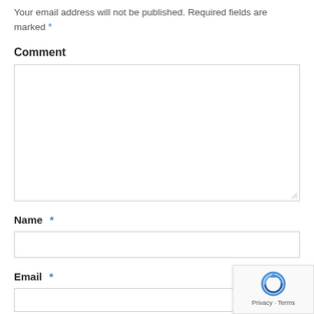Your email address will not be published. Required fields are marked *
Comment
[Figure (screenshot): Empty comment textarea input box with resize handle at bottom-right]
Name *
[Figure (screenshot): Empty name text input box]
Email *
[Figure (screenshot): Empty email text input box (partially visible)]
[Figure (screenshot): reCAPTCHA badge with logo, Privacy and Terms links]